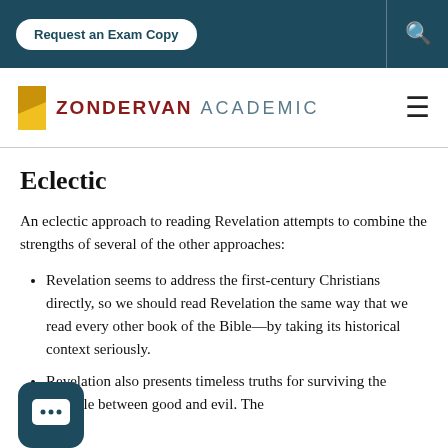Request an Exam Copy
[Figure (logo): Zondervan Academic logo with yellow Z-shaped book icon and text ZONDERVAN ACADEMIC]
Eclectic
An eclectic approach to reading Revelation attempts to combine the strengths of several of the other approaches:
Revelation seems to address the first-century Christians directly, so we should read Revelation the same way that we read every other book of the Bible—by taking its historical context seriously.
Revelation also presents timeless truths for surviving the struggle between good and evil. The